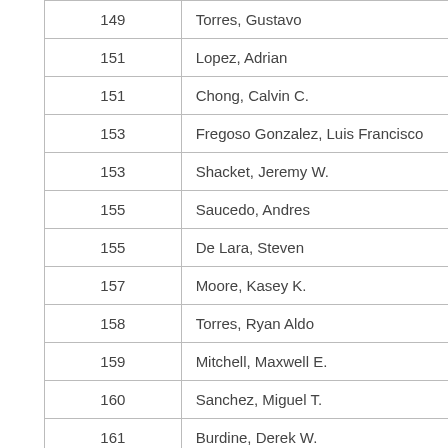| 149 | Torres, Gustavo | 9 |
| 151 | Lopez, Adrian | 9 |
| 151 | Chong, Calvin C. | 9 |
| 153 | Fregoso Gonzalez, Luis Francisco | 9 |
| 153 | Shacket, Jeremy W. | 9 |
| 155 | Saucedo, Andres | 9 |
| 155 | De Lara, Steven | 9 |
| 157 | Moore, Kasey K. | 9 |
| 158 | Torres, Ryan Aldo | 9 |
| 159 | Mitchell, Maxwell E. | 9 |
| 160 | Sanchez, Miguel T. | 9 |
| 161 | Burdine, Derek W. | 9 |
| 162 | Arias, Antonio | 9 |
| 163 | Novo, Jerry... | 9 |